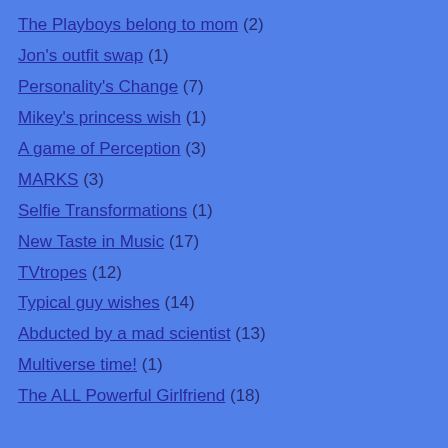The Playboys belong to mom (2)
Jon's outfit swap (1)
Personality's Change (7)
Mikey's princess wish (1)
A game of Perception (3)
MARKS (3)
Selfie Transformations (1)
New Taste in Music (17)
TVtropes (12)
Typical guy wishes (14)
Abducted by a mad scientist (13)
Multiverse time! (1)
The ALL Powerful Girlfriend (18)